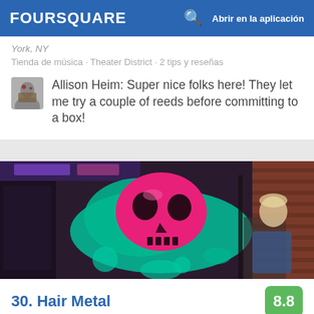FOURSQUARE  🔍  Abrir en la aplicación
York, NY
Tienda de música · Theater District · 2 tips y reseñas
Allison Heim: Super nice folks here! They let me try a couple of reeds before committing to a box!
[Figure (photo): Interior of a bar or barbershop with a large pink and teal skull graffiti mural on the wall, mirrors, and a person sitting in a barber chair]
30. Hair Metal
8.8
579 Prince Ave (N. 9th Street), Brooklyn, NY